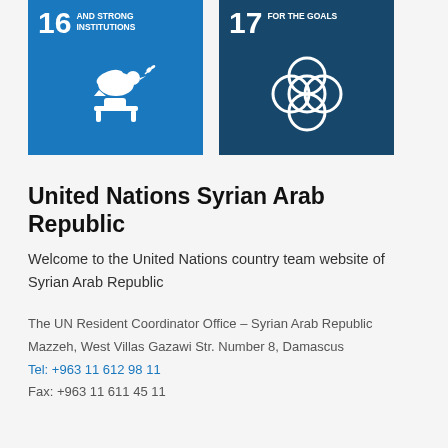[Figure (illustration): UN SDG Goal 16 icon - Peace, Justice and Strong Institutions - blue square with dove and gavel icon]
[Figure (illustration): UN SDG Goal 17 icon - Partnerships for the Goals - dark blue square with interlocking circles icon]
United Nations Syrian Arab Republic
Welcome to the United Nations country team website of Syrian Arab Republic
The UN Resident Coordinator Office – Syrian Arab Republic
Mazzeh, West Villas Gazawi Str. Number 8, Damascus
Tel: +963 11 612 98 11
Fax: +963 11 611 45 11